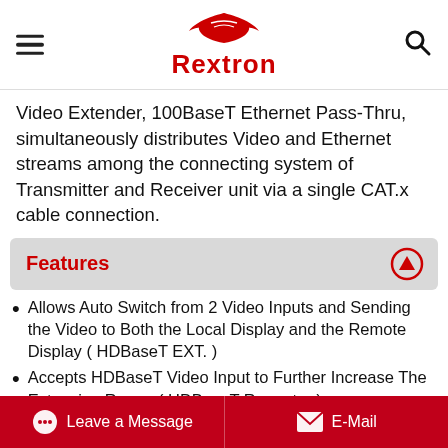Rextron
Video Extender, 100BaseT Ethernet Pass-Thru, simultaneously distributes Video and Ethernet streams among the connecting system of Transmitter and Receiver unit via a single CAT.x cable connection.
Features
Allows Auto Switch from 2 Video Inputs and Sending the Video to Both the Local Display and the Remote Display ( HDBaseT EXT. )
Accepts HDBaseT Video Input to Further Increase The Extension Range ( HDBaseT Repeater )
Auto Switch Topology Eliminates Learning Procedure for the First-Time Users.
Leave a Message   E-Mail